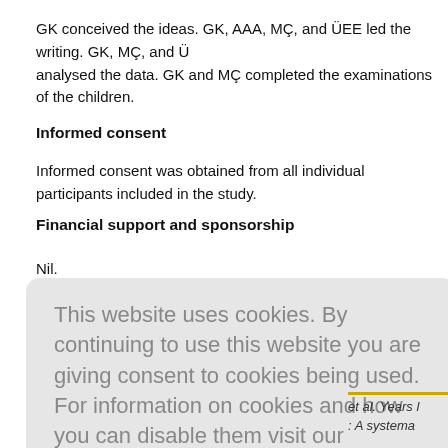GK conceived the ideas. GK, AAA, MÇ, and ÜEE led the writing. GK, MÇ, and Ü analysed the data. GK and MÇ completed the examinations of the children.
Informed consent
Informed consent was obtained from all individual participants included in the study.
Financial support and sponsorship
Nil.
This website uses cookies. By continuing to use this website you are giving consent to cookies being used. For information on cookies and how you can disable them visit our Privacy and Cookie Policy. AGREE & PROCEED
et al. Years l : A systema